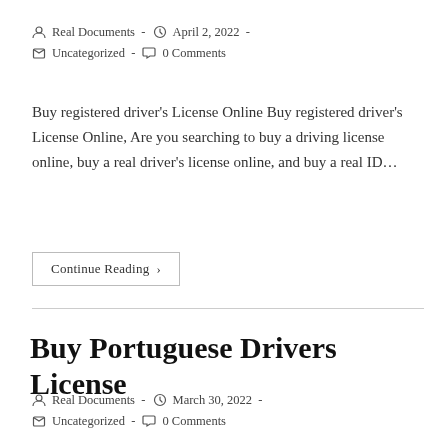Real Documents  -  April 2, 2022  -  Uncategorized  -  0 Comments
Buy registered driver's License Online Buy registered driver's License Online, Are you searching to buy a driving license online, buy a real driver's license online, and buy a real ID...
Continue Reading ›
Buy Portuguese Drivers License
Real Documents  -  March 30, 2022  -  Uncategorized  -  0 Comments